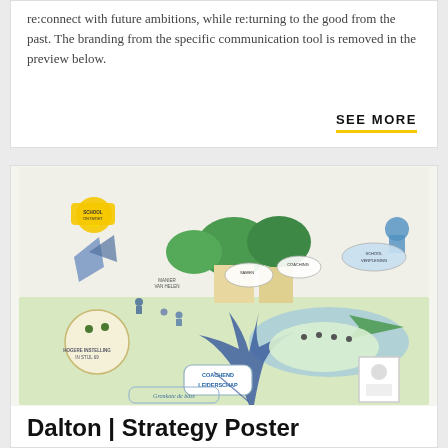re:connect with future ambitions, while re:turning to the good from the past. The branding from the specific communication tool is removed in the preview below.
SEE MORE
[Figure (illustration): Colorful illustrated strategy poster for Dalton showing a landscape scene with trees, buildings, people, arrows and various labels in Dutch. The illustration depicts a journey metaphor with coaching leadership (Coachend Leiderschap) elements.]
Dalton | Strategy Poster
ILLUSTRATION